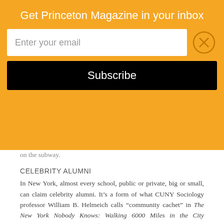Get Princeton Magazine in your inbox
on the subway.
CELEBRITY ALUMNI
In New York, almost every school, public or private, big or small, can claim celebrity alumni. It’s a form of what CUNY Sociology professor William B. Helmeich calls “community cachet” in The New York Nobody Knows: Walking 6000 Miles in the City (Princeton University Press $29.95). One example is the naming of West 84th Street after Edgar Allan Poe. Another is P.S. 199 on Shakespeare Avenue in the West Bronx, which is known as the Shakespeare School and presents a play by the Bard every year in June. P.S. 149 on Sutter Avenue in East New York is known as the Danny Kaye School, after the comedian. Then there’s the West Harlem School on Edgecombe Avenue and 165th Street which features